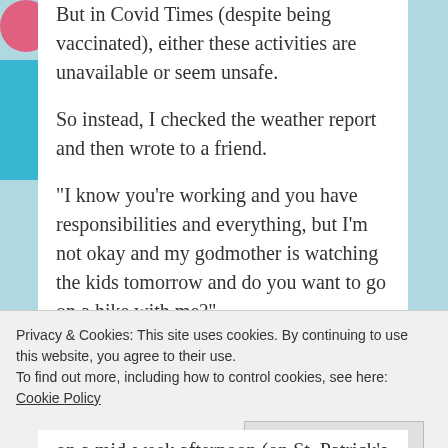But in Covid Times (despite being vaccinated), either these activities are unavailable or seem unsafe.
So instead, I checked the weather report and then wrote to a friend.
“I know you’re working and you have responsibilities and everything, but I’m not okay and my godmother is watching the kids tomorrow and do you want to go on a hike with me?”
Privacy & Cookies: This site uses cookies. By continuing to use this website, you agree to their use.
To find out more, including how to control cookies, see here: Cookie Policy
Close and accept
on a mid-week afternoon (on St. Patrick’s Day